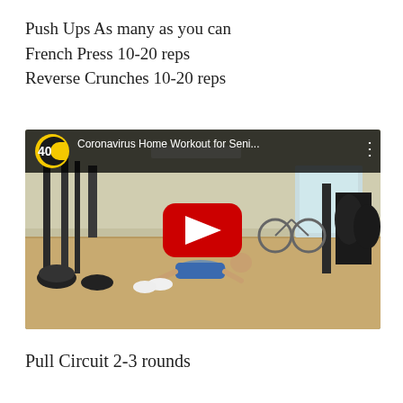Push Ups As many as you can
French Press 10-20 reps
Reverse Crunches 10-20 reps
[Figure (screenshot): YouTube video thumbnail showing a man doing push-ups in a gym. Title reads 'Coronavirus Home Workout for Seni...' with a 40+ channel logo and red play button.]
Pull Circuit 2-3 rounds